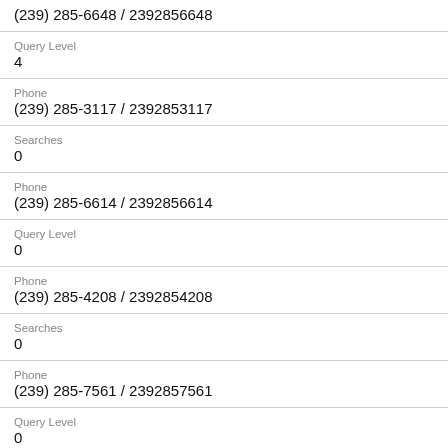(239) 285-6648 / 2392856648
Query Level
4
Phone
(239) 285-3117 / 2392853117
Searches
0
Phone
(239) 285-6614 / 2392856614
Query Level
0
Phone
(239) 285-4208 / 2392854208
Searches
0
Phone
(239) 285-7561 / 2392857561
Query Level
0